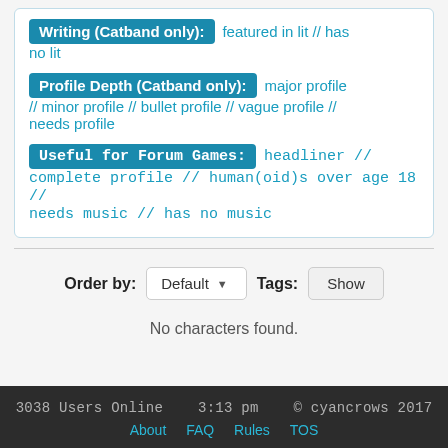Writing (Catband only): featured in lit // has no lit
Profile Depth (Catband only): major profile // minor profile // bullet profile // vague profile // needs profile
Useful for Forum Games: headliner // complete profile // human(oid)s over age 18 // needs music // has no music
Order by: Default ▼   Tags: Show
No characters found.
3038 Users Online   3:13 pm   © cyancrows 2017   About   FAQ   Rules   TOS